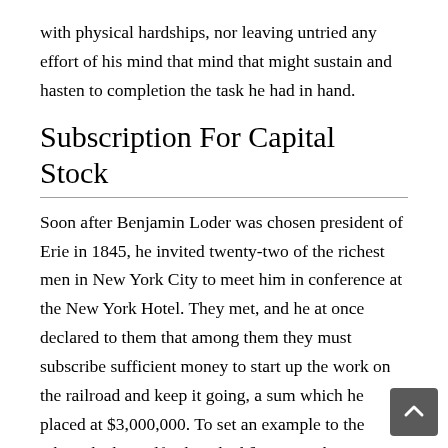with physical hardships, nor leaving untried any effort of his mind that mind that might sustain and hasten to completion the task he had in hand.
Subscription For Capital Stock
Soon after Benjamin Loder was chosen president of Erie in 1845, he invited twenty-two of the richest men in New York City to meet him in conference at the New York Hotel. They met, and he at once declared to them that among them they must subscribe sufficient money to start up the work on the railroad and keep it going, a sum which he placed at $3,000,000. To set an example to the others, he himself subscribed §250,000, his entire fortune.[1]